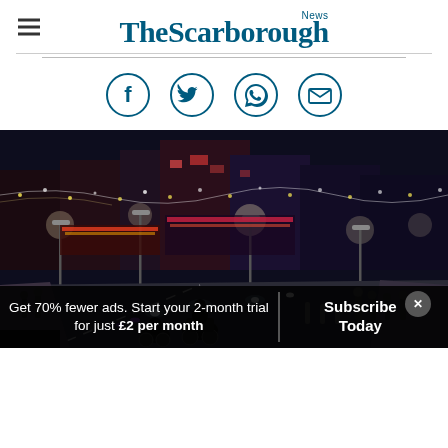The Scarborough News
[Figure (logo): The Scarborough News logo with hamburger menu icon on left]
[Figure (infographic): Social sharing icons: Facebook, Twitter, WhatsApp, Email in teal circle outlines]
[Figure (photo): Nighttime street scene with motorcyclists riding through a lit-up town centre with shops and crowds of people on pavements]
Get 70% fewer ads. Start your 2-month trial for just £2 per month
Subscribe Today